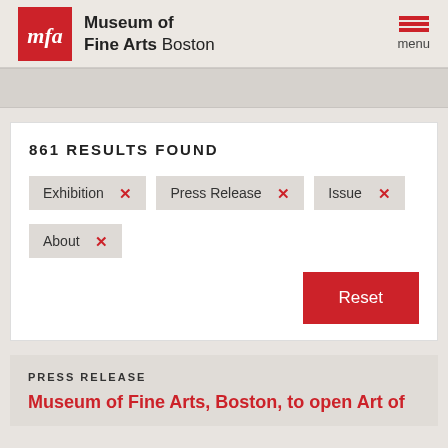[Figure (logo): Museum of Fine Arts Boston logo with red MFA square and menu icon]
861 RESULTS FOUND
Exhibition ×
Press Release ×
Issue ×
About ×
Reset
PRESS RELEASE
Museum of Fine Arts, Boston, to open Art of